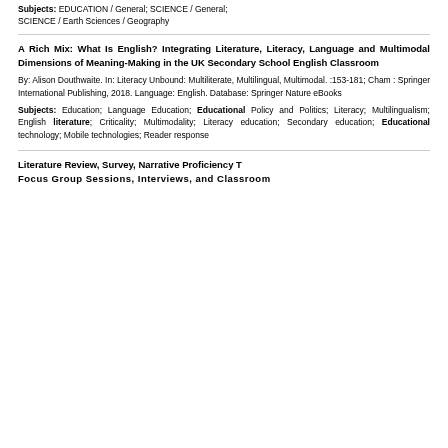Subjects: EDUCATION / General; SCIENCE / General; SCIENCE / Earth Sciences / Geography
A Rich Mix: What Is English? Integrating Literature, Literacy, Language and Multimodal Dimensions of Meaning-Making in the UK Secondary School English Classroom
By: Alison Douthwaite. In: Literacy Unbound: Multiliterate, Multilingual, Multimodal. :153-181; Cham : Springer International Publishing, 2018. Language: English. Database: Springer Nature eBooks
Subjects: Education; Language Education; Educational Policy and Politics; Literacy; Multilingualism; English literature; Criticality; Multimodality; Literacy education; Secondary education; Educational technology; Mobile technologies; Reader response
Literature Review, Survey, Narrative Proficiency Tests, Focus Group Sessions, Interviews, and Classroom